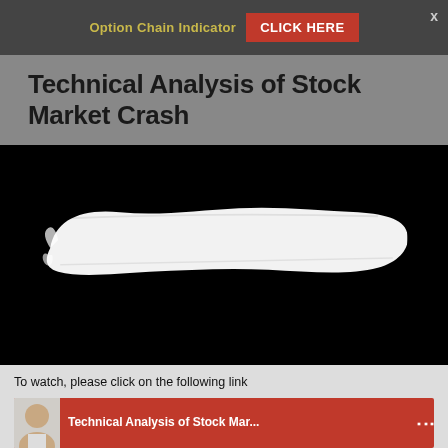Option Chain Indicator   CLICK HERE   x
Technical Analysis of Stock Market Crash
[Figure (screenshot): Black video thumbnail with a white paint brush stroke across the middle, representing a video thumbnail for 'Technical Analysis of Stock Market Crash']
To watch, please click on the following link
[Figure (screenshot): YouTube-style video thumbnail row showing an avatar of a man and the text 'Technical Analysis of Stock Mar...' on a red background with a vertical dots menu icon]